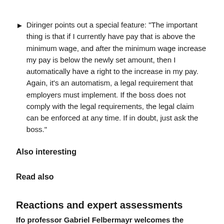Diringer points out a special feature: "The important thing is that if I currently have pay that is above the minimum wage, and after the minimum wage increase my pay is below the newly set amount, then I automatically have a right to the increase in my pay. Again, it's an automatism, a legal requirement that employers must implement. If the boss does not comply with the legal requirements, the legal claim can be enforced at any time. If in doubt, just ask the boss."
Also interesting
Read also
Reactions and expert assessments
Ifo professor Gabriel Felbermayr welcomes the increase in the minimum wage in response to a BILD inquiry.